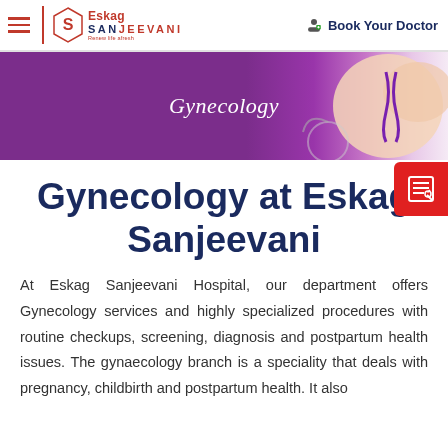Eskag Sanjeevani — Book Your Doctor
[Figure (photo): Gynecology hero banner with purple background and hands holding a purple ribbon with a stethoscope]
Gynecology at Eskag Sanjeevani
At Eskag Sanjeevani Hospital, our department offers Gynecology services and highly specialized procedures with routine checkups, screening, diagnosis and postpartum health issues. The gynaecology branch is a speciality that deals with pregnancy, childbirth and postpartum health. It also